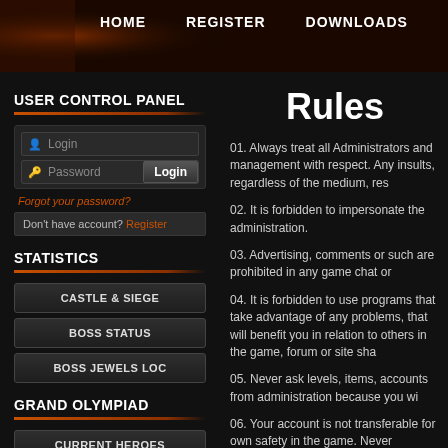HOME  REGISTER  DOWNLOADS  INFO
USER CONTROL PANEL
Login field, Password field, Login button, Forgot your password?, Don't have account? Register
STATISTICS
CASTLE & SIEGE
BOSS STATUS
BOSS JEWELS LOC
GRAND OLYMPIAD
CURRENT HEROES
Rules
01. Always treat all Administrators and management with respect. Any insults, regardless of the medium, res
02. It is forbidden to impersonate the administration.
03. Advertising, comments or such are prohibited in any game chat or
04. It is forbidden to use programs that take advantage of any problems, that will benefit you in relation to others in the game, forum or site sha
05. Never ask levels, items, account from administration because you wi
06. Your account is not transferable for own safety in the game. Never